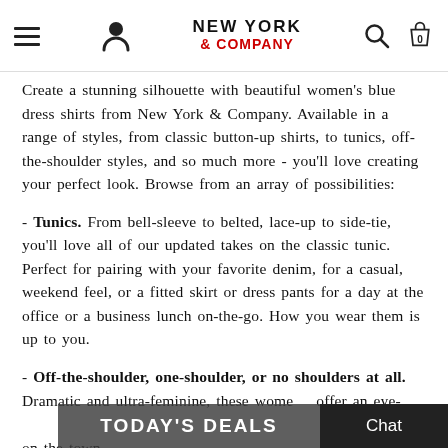NEW YORK & COMPANY
Create a stunning silhouette with beautiful women's blue dress shirts from New York & Company. Available in a range of styles, from classic button-up shirts, to tunics, off-the-shoulder styles, and so much more - you'll love creating your perfect look. Browse from an array of possibilities:
- Tunics. From bell-sleeve to belted, lace-up to side-tie, you'll love all of our updated takes on the classic tunic. Perfect for pairing with your favorite denim, for a casual, weekend feel, or a fitted skirt or dress pants for a day at the office or a business lunch on-the-go. How you wear them is up to you.
- Off-the-shoulder, one-shoulder, or no shoulders at all. Dramatic and ultra-feminine, these women's offer an eye-catching look, just right for on the town, date nights, or a night out with friends.